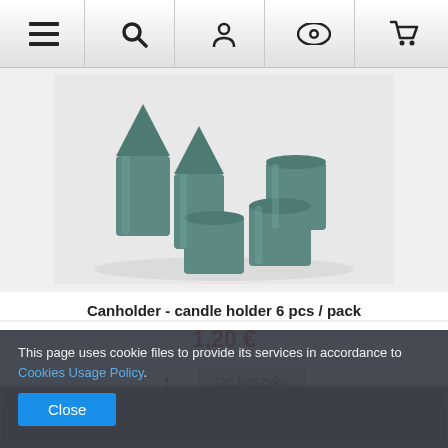[Figure (screenshot): Mobile website navigation bar with five icons: hamburger menu, search, user/account, eye/wishlist, shopping cart]
[Figure (photo): Product photo showing teal/dark green plastic candle holders (6 pieces), cylindrical with pointed tops, on a white background]
Canholder - candle holder 6 pcs / pack
1,20 €
1
Do koszyka
This page uses cookie files to provide its services in accordance to Cookies Usage Policy.
Close